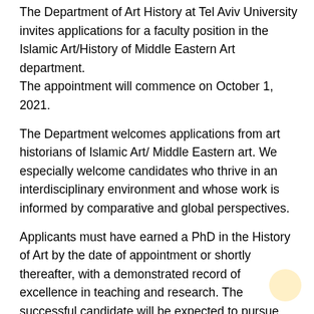The Department of Art History at Tel Aviv University invites applications for a faculty position in the Islamic Art/History of Middle Eastern Art department. The appointment will commence on October 1, 2021.
The Department welcomes applications from art historians of Islamic Art/ Middle Eastern art. We especially welcome candidates who thrive in an interdisciplinary environment and whose work is informed by comparative and global perspectives.
Applicants must have earned a PhD in the History of Art by the date of appointment or shortly thereafter, with a demonstrated record of excellence in teaching and research. The successful candidate will be expected to pursue innovative and independent research at the highest international level and to establish an outstanding, competitive, and externally funded research program.